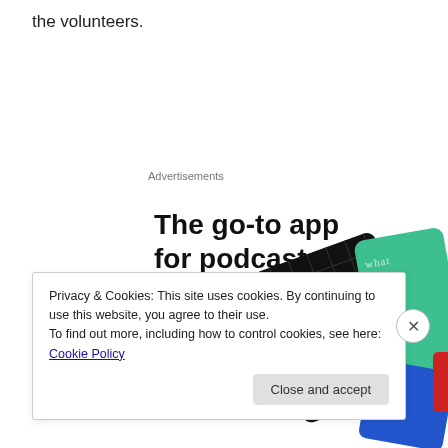the volunteers.
Advertisements
[Figure (illustration): Podcast app advertisement showing bold headline 'The go-to app for podcast lovers.' with a red 'Download now' link, and an image of app cards including a '99% Invisible' podcast tile on a black grid background and a green card.]
Privacy & Cookies: This site uses cookies. By continuing to use this website, you agree to their use.
To find out more, including how to control cookies, see here: Cookie Policy
Close and accept